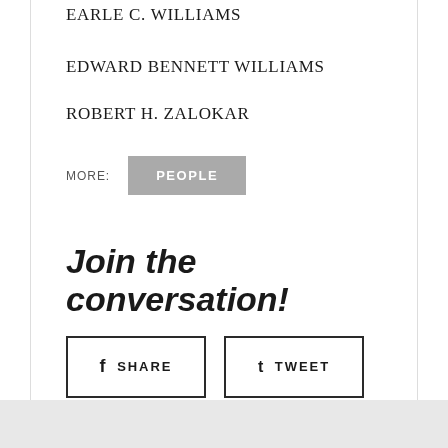EARLE C. WILLIAMS
EDWARD BENNETT WILLIAMS
ROBERT H. ZALOKAR
MORE: PEOPLE
Join the conversation!
SHARE
TWEET